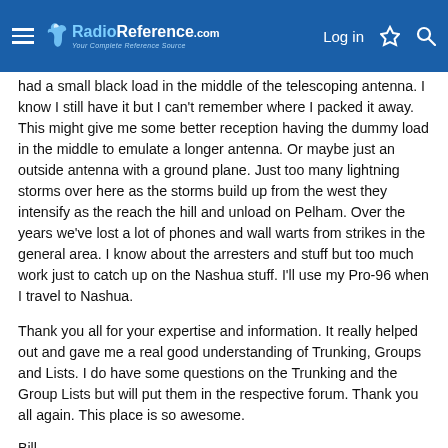RadioReference.com — Log in
had a small black load in the middle of the telescoping antenna. I know I still have it but I can't remember where I packed it away. This might give me some better reception having the dummy load in the middle to emulate a longer antenna. Or maybe just an outside antenna with a ground plane. Just too many lightning storms over here as the storms build up from the west they intensify as the reach the hill and unload on Pelham. Over the years we've lost a lot of phones and wall warts from strikes in the general area. I know about the arresters and stuff but too much work just to catch up on the Nashua stuff. I'll use my Pro-96 when I travel to Nashua.
Thank you all for your expertise and information. It really helped out and gave me a real good understanding of Trunking, Groups and Lists. I do have some questions on the Trunking and the Group Lists but will put them in the respective forum. Thank you all again. This place is so awesome.
Bill